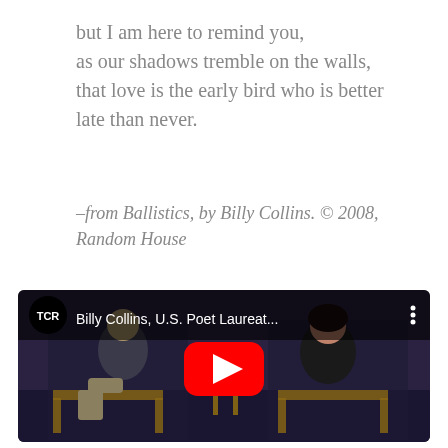but I am here to remind you,
as our shadows tremble on the walls,
that love is the early bird who is better
late than never.
–from Ballistics, by Billy Collins. © 2008, Random House
[Figure (screenshot): YouTube video thumbnail showing two people seated on stage in chairs for an interview/reading event. A YouTube play button is overlaid in the center. The video is titled 'Billy Collins, U.S. Poet Laureat...' with a TCR channel badge in the upper left.]